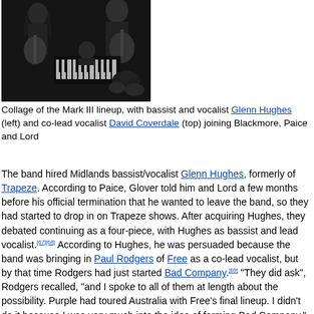[Figure (photo): Black and white collage photo of the Mark III lineup of Deep Purple, showing multiple band members including a bassist/vocalist and guitarist.]
Collage of the Mark III lineup, with bassist and vocalist Glenn Hughes (left) and co-lead vocalist David Coverdale (top) joining Blackmore, Paice and Lord
The band hired Midlands bassist/vocalist Glenn Hughes, formerly of Trapeze. According to Paice, Glover told him and Lord a few months before his official termination that he wanted to leave the band, so they had started to drop in on Trapeze shows. After acquiring Hughes, they debated continuing as a four-piece, with Hughes as bassist and lead vocalist.[67][68] According to Hughes, he was persuaded because the band was bringing in Paul Rodgers of Free as a co-lead vocalist, but by that time Rodgers had just started Bad Company.[69] "They did ask", Rodgers recalled, "and I spoke to all of them at length about the possibility. Purple had toured Australia with Free's final lineup. I didn't do it because I was very much into the idea of forming Bad Company."[70]